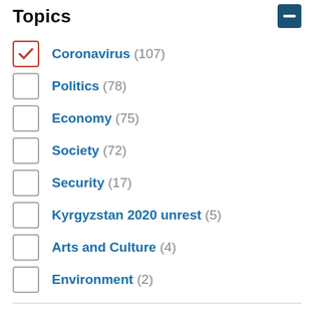Topics
Coronavirus (107)
Politics (78)
Economy (75)
Society (72)
Security (17)
Kyrgyzstan 2020 unrest (5)
Arts and Culture (4)
Environment (2)
Year